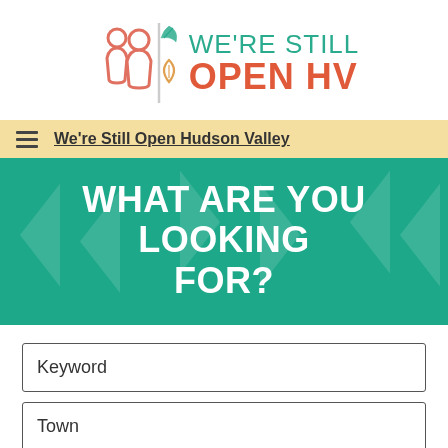[Figure (logo): We're Still Open HV logo with two person icons and leaf/teardrop icons, teal and orange color scheme]
We're Still Open Hudson Valley
WHAT ARE YOU LOOKING FOR?
Keyword
Town
Category
County